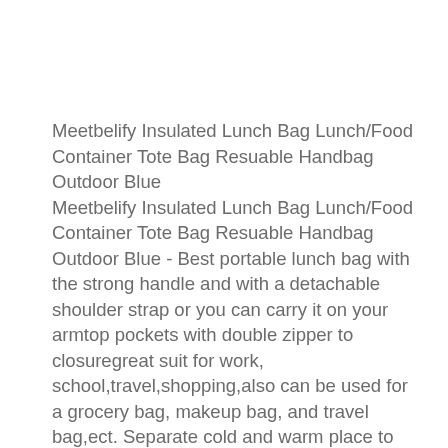Meetbelify Insulated Lunch Bag Lunch/Food Container Tote Bag Resuable Handbag Outdoor Blue
Meetbelify Insulated Lunch Bag Lunch/Food Container Tote Bag Resuable Handbag Outdoor Blue - Best portable lunch bag with the strong handle and with a detachable shoulder strap or you can carry it on your armtop pockets with double zipper to closuregreat suit for work, school,travel,shopping,also can be used for a grocery bag, makeup bag, and travel bag,ect. Separate cold and warm place to storage your foods fresh and drink cold with ice bag,the top bag is a good place for your fruits,snacks,etc and the